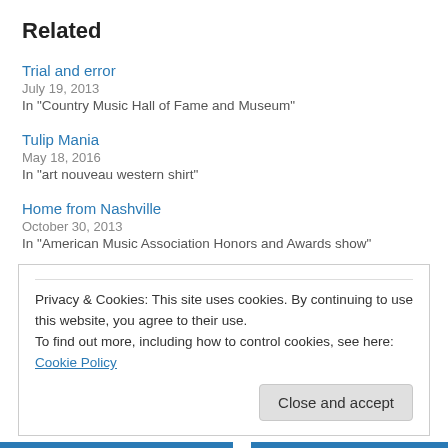Related
Trial and error
July 19, 2013
In "Country Music Hall of Fame and Museum"
Tulip Mania
May 18, 2016
In "art nouveau western shirt"
Home from Nashville
October 30, 2013
In "American Music Association Honors and Awards show"
Privacy & Cookies: This site uses cookies. By continuing to use this website, you agree to their use.
To find out more, including how to control cookies, see here: Cookie Policy
Close and accept